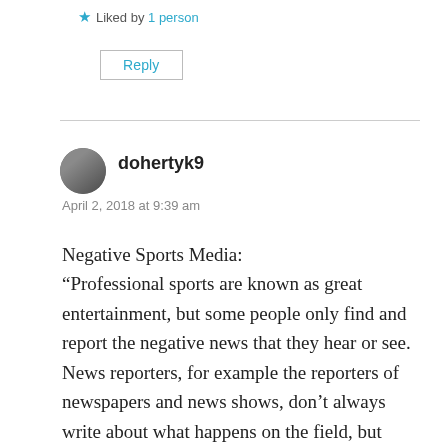★ Liked by 1person
Reply
dohertyk9
April 2, 2018 at 9:39 am
Negative Sports Media:
“Professional sports are known as great entertainment, but some people only find and report the negative news that they hear or see. News reporters, for example the reporters of newspapers and news shows, don’t always write about what happens on the field, but rather find aspects of what professional players do away off the field.”